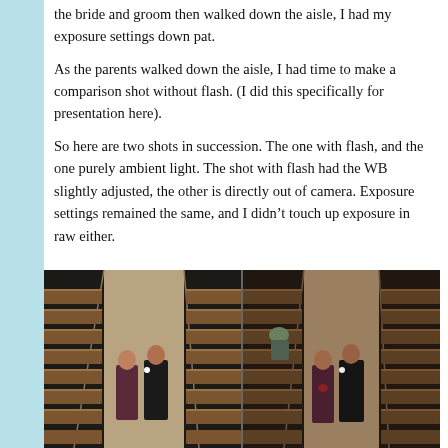the bride and groom then walked down the aisle, I had my exposure settings down pat.
As the parents walked down the aisle, I had time to make a comparison shot without flash. (I did this specifically for presentation here).
So here are two shots in succession. The one with flash, and the one purely ambient light. The shot with flash had the WB slightly adjusted, the other is directly out of camera. Exposure settings remained the same, and I didn't touch up exposure in raw either.
[Figure (photo): Two side-by-side photographs of a church wedding ceremony aisle. Left photo (with flash) shows a woman in dark dress and man in black suit walking down the church aisle flanked by wooden pews. Right photo (ambient light only) shows the same scene with more natural, darker lighting. Both shots show church pews, an aisle, and people walking.]